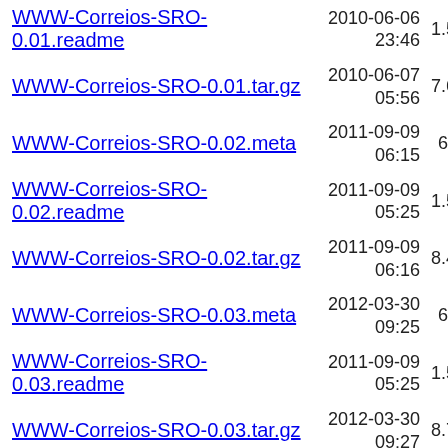WWW-Correios-SRO-0.01.readme  2010-06-06 23:46  1.5K
WWW-Correios-SRO-0.01.tar.gz  2010-06-07 05:56  7.6K
WWW-Correios-SRO-0.02.meta  2011-09-09 06:15  669
WWW-Correios-SRO-0.02.readme  2011-09-09 05:25  1.5K
WWW-Correios-SRO-0.02.tar.gz  2011-09-09 06:16  8.4K
WWW-Correios-SRO-0.03.meta  2012-03-30 09:25  669
WWW-Correios-SRO-0.03.readme  2011-09-09 05:25  1.5K
WWW-Correios-SRO-0.03.tar.gz  2012-03-30 09:27  8.7K
WWW-Correios-SRO-0.04.meta  2012-06-02 05:23  1.1K
WWW-Correios-SRO-0.04.readme  2012-06-01 04:35  1.5K
WWW-Correios-SRO-0.04.tar.gz  2012-06-02 05:27  11K
WWW-Correios-SRO-0.05.meta  2013-01-31  1.1K